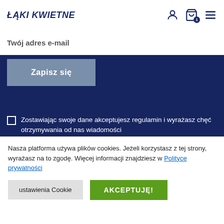ŁĄKI KWIETNE
Twój adres e-mail
Zapisz się
Zostawiając swoje dane akceptujesz regulamin i wyrażasz chęć otrzymywania od nas wiadomości
Obserwuj nas na
Nasza platforma używa plików cookies. Jeżeli korzystasz z tej strony, wyrażasz na to zgodę. Więcej informacji znajdziesz w Polityce prywatności
ustawienia Cookie
AKCEPTUJĘ!